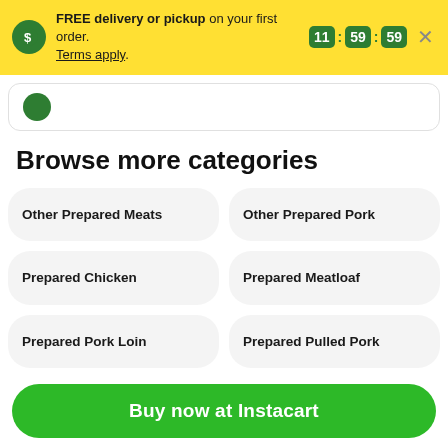FREE delivery or pickup on your first order. Terms apply. 11:59:59
Browse more categories
Other Prepared Meats
Other Prepared Pork
Prepared Chicken
Prepared Meatloaf
Prepared Pork Loin
Prepared Pulled Pork
Prepared Seafood
Buy now at Instacart